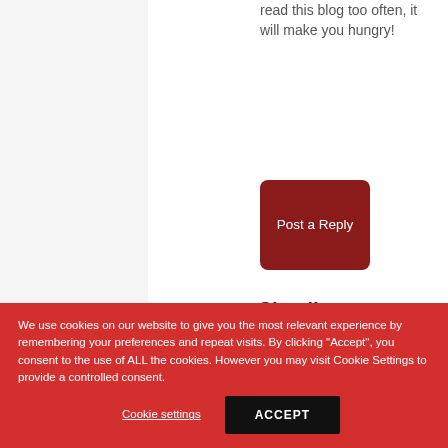read this blog too often, it will make you hungry!
[Figure (other): Red rounded rectangle button labeled 'Post a Reply']
Claudia
We use cookies on our website to give you the most relevant experience by remembering your preferences and repeat visits. By clicking "Accept", you consent to the use of ALL the cookies. However you may visit Cookie Settings to provide a controlled consent.
Cookie settings
ACCEPT